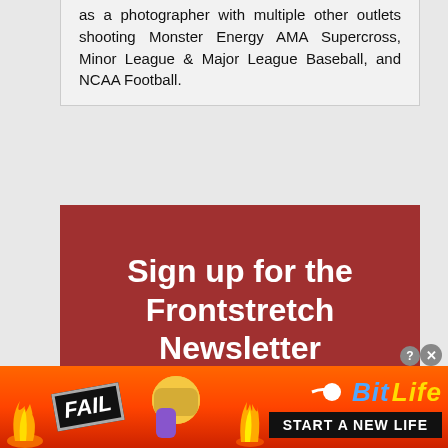as a photographer with multiple other outlets shooting Monster Energy AMA Supercross, Minor League & Major League Baseball, and NCAA Football.
[Figure (infographic): Dark red/maroon newsletter sign-up box with white bold text reading 'Sign up for the Frontstretch Newsletter' and subtitle 'A daily email update (Monday through Friday) providing racing news']
[Figure (infographic): Mobile advertisement banner for BitLife game featuring orange/red flame background, FAIL badge, emoji, BitLife logo in yellow/blue, and 'START A NEW LIFE' button on black background]